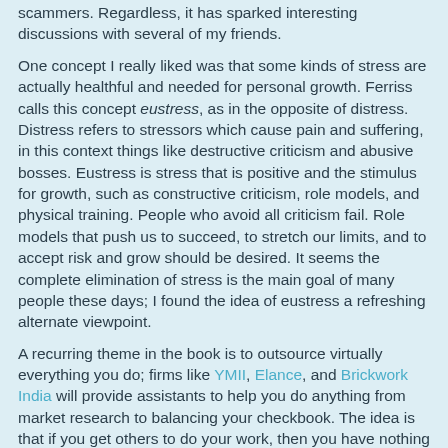scammers. Regardless, it has sparked interesting discussions with several of my friends.
One concept I really liked was that some kinds of stress are actually healthful and needed for personal growth. Ferriss calls this concept eustress, as in the opposite of distress. Distress refers to stressors which cause pain and suffering, in this context things like destructive criticism and abusive bosses. Eustress is stress that is positive and the stimulus for growth, such as constructive criticism, role models, and physical training. People who avoid all criticism fail. Role models that push us to succeed, to stretch our limits, and to accept risk and grow should be desired. It seems the complete elimination of stress is the main goal of many people these days; I found the idea of eustress a refreshing alternate viewpoint.
A recurring theme in the book is to outsource virtually everything you do; firms like YMII, Elance, and Brickwork India will provide assistants to help you do anything from market research to balancing your checkbook. The idea is that if you get others to do your work, then you have nothing but leisure time! I find this a fascinating idea, but one that